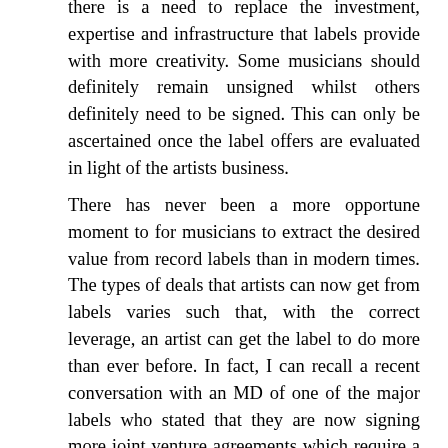there is a need to replace the investment, expertise and infrastructure that labels provide with more creativity. Some musicians should definitely remain unsigned whilst others definitely need to be signed. This can only be ascertained once the label offers are evaluated in light of the artists business.
There has never been a more opportune moment to for musicians to extract the desired value from record labels than in modern times. The types of deals that artists can now get from labels varies such that, with the correct leverage, an artist can get the label to do more than ever before. In fact, I can recall a recent conversation with an MD of one of the major labels who stated that they are now signing more joint venture agreements which require a financial commitment from the label more than ever before. This showcases the pull that artists now have dealing with labels.